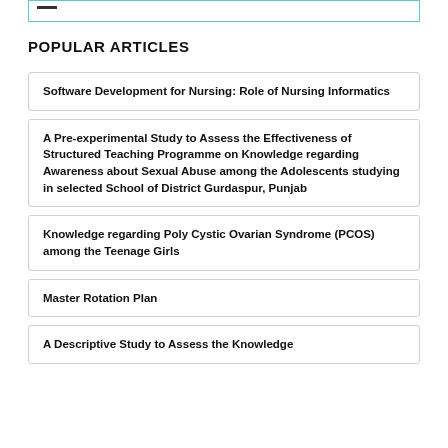POPULAR ARTICLES
Software Development for Nursing: Role of Nursing Informatics
A Pre-experimental Study to Assess the Effectiveness of Structured Teaching Programme on Knowledge regarding Awareness about Sexual Abuse among the Adolescents studying in selected School of District Gurdaspur, Punjab
Knowledge regarding Poly Cystic Ovarian Syndrome (PCOS) among the Teenage Girls
Master Rotation Plan
A Descriptive Study to Assess the Knowledge